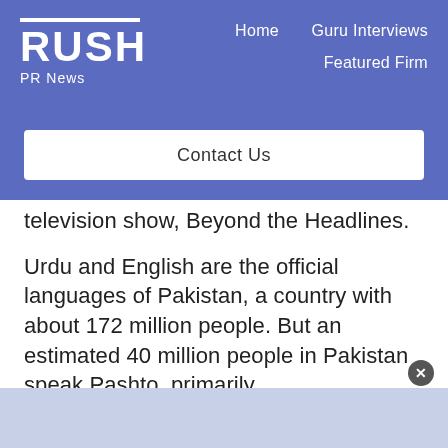RUSH PR News | Home | Guru Interviews | Featured Firm | Contact Us
television show, Beyond the Headlines.
Urdu and English are the official languages of Pakistan, a country with about 172 million people. But an estimated 40 million people in Pakistan speak Pashto, primarily